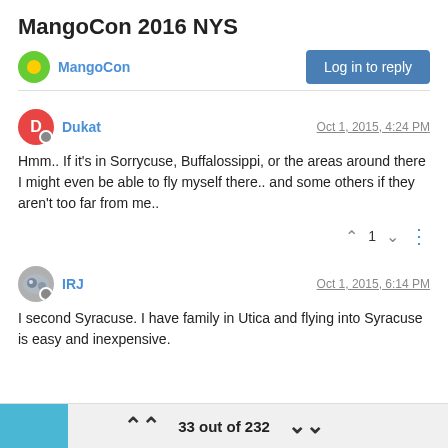MangoCon 2016 NYS
MangoCon
Log in to reply
Dukat
Oct 1, 2015, 4:24 PM
Hmm.. If it's in Sorrycuse, Buffalossippi, or the areas around there I might even be able to fly myself there.. and some others if they aren't too far from me..
1
IRJ
Oct 1, 2015, 6:14 PM
I second Syracuse. I have family in Utica and flying into Syracuse is easy and inexpensive.
33 out of 232